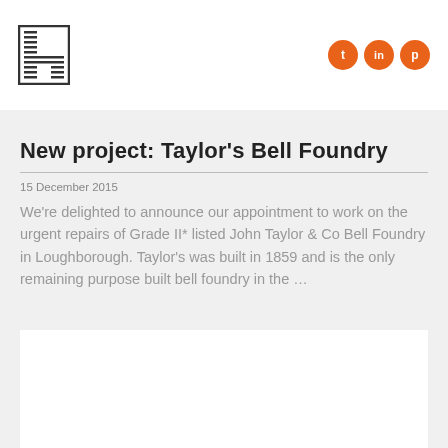[Figure (logo): Stylized H logo made of horizontal lines, black and white, square format]
[Figure (infographic): Three orange circular social media icons: t (Twitter), in (LinkedIn), p (Pinterest)]
[Figure (other): Hamburger menu icon, three horizontal gray lines]
New project: Taylor's Bell Foundry
15 December 2015
We're delighted to announce our appointment to work on the urgent repairs of Grade II* listed John Taylor & Co Bell Foundry in Loughborough. Taylor's was built in 1859 and is the only remaining purpose built bell foundry in the …